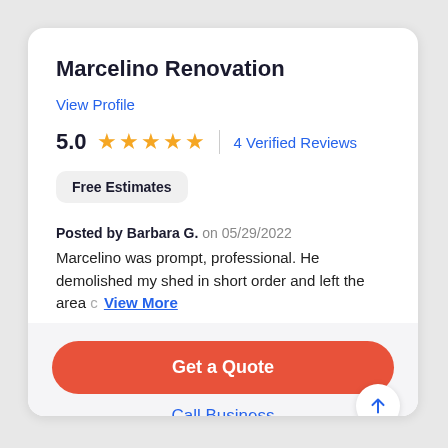Marcelino Renovation
View Profile
5.0  ★★★★★  4 Verified Reviews
Free Estimates
Posted by Barbara G. on 05/29/2022
Marcelino was prompt, professional. He demolished my shed in short order and left the area c… View More
Get a Quote
Call Business